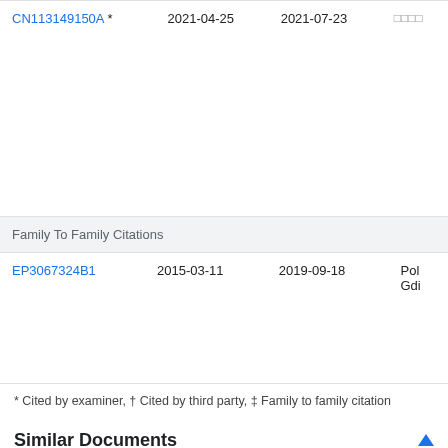| Publication | Filing Date | Publication Date | Assignee/Title |
| --- | --- | --- | --- |
| CN113149150A * | 2021-04-25 | 2021-07-23 | □□□□ |
| Family To Family Citations |
| --- |
| EP3067324B1 | 2015-03-11 | 2019-09-18 | Pol Gdi |
* Cited by examiner, † Cited by third party, ‡ Family to family citation
Similar Documents
| Publication | Publication Date | Title |
| --- | --- | --- |